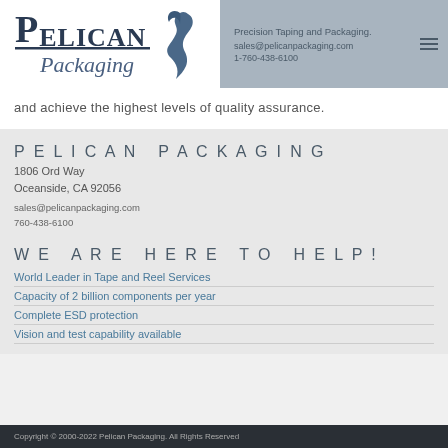[Figure (logo): Pelican Packaging logo with pelican bird graphic and company name]
Precision Taping and Packaging
sales@pelicanpackaging.com
1-760-438-6100
and achieve the highest levels of quality assurance.
PELICAN PACKAGING
1806 Ord Way
Oceanside, CA 92056
sales@pelicanpackaging.com
760-438-6100
WE ARE HERE TO HELP!
World Leader in Tape and Reel Services
Capacity of 2 billion components per year
Complete ESD protection
Vision and test capability available
Copyright © 2000-2022 Pelican Packaging. All Rights Reserved